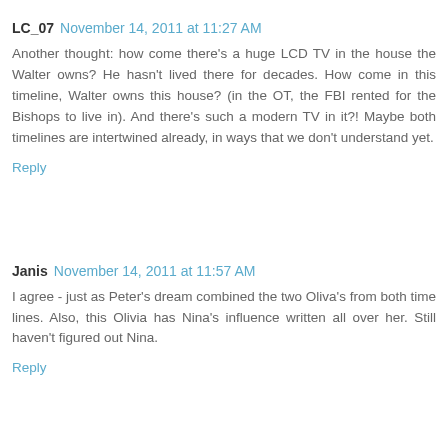LC_07  November 14, 2011 at 11:27 AM
Another thought: how come there's a huge LCD TV in the house the Walter owns? He hasn't lived there for decades. How come in this timeline, Walter owns this house? (in the OT, the FBI rented for the Bishops to live in). And there's such a modern TV in it?! Maybe both timelines are intertwined already, in ways that we don't understand yet.
Reply
Janis  November 14, 2011 at 11:57 AM
I agree - just as Peter's dream combined the two Oliva's from both time lines. Also, this Olivia has Nina's influence written all over her. Still haven't figured out Nina.
Reply
Anonymous  November 15, 2011 at 4:16 AM